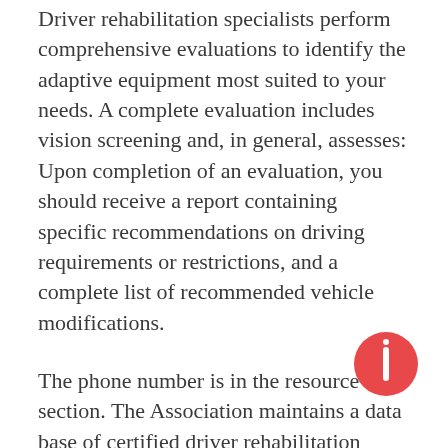Driver rehabilitation specialists perform comprehensive evaluations to identify the adaptive equipment most suited to your needs. A complete evaluation includes vision screening and, in general, assesses: Upon completion of an evaluation, you should receive a report containing specific recommendations on driving requirements or restrictions, and a complete list of recommended vehicle modifications.
The phone number is in the resource section. The Association maintains a data base of certified driver rehabilitation specialists throughout the country. Your insurance company may pay for the evaluation.
Consult with your physician to make sure you are physically and psychologically prepared to drive. Being evaluated too soon after an injury or other trauma may indicate the need for adaptive equipment you will not need in the future.
When going for an evaluation, bring any equipment